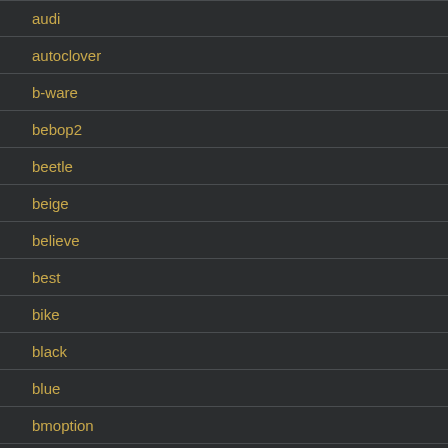audi
autoclover
b-ware
bebop2
beetle
beige
believe
best
bike
black
blue
bmoption